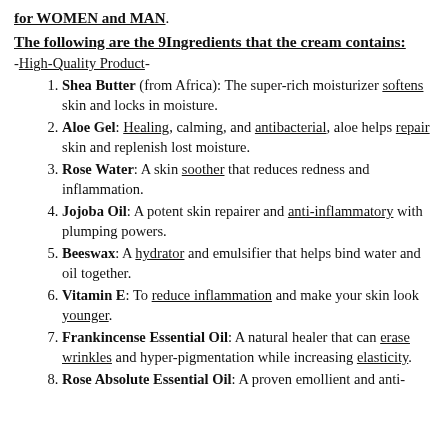for WOMEN and MAN.
The following are the 9Ingredients that the cream contains:
-High-Quality Product-
Shea Butter (from Africa): The super-rich moisturizer softens skin and locks in moisture.
Aloe Gel: Healing, calming, and antibacterial, aloe helps repair skin and replenish lost moisture.
Rose Water: A skin soother that reduces redness and inflammation.
Jojoba Oil: A potent skin repairer and anti-inflammatory with plumping powers.
Beeswax: A hydrator and emulsifier that helps bind water and oil together.
Vitamin E: To reduce inflammation and make your skin look younger.
Frankincense Essential Oil: A natural healer that can erase wrinkles and hyper-pigmentation while increasing elasticity.
Rose Absolute Essential Oil: A proven emollient and anti-